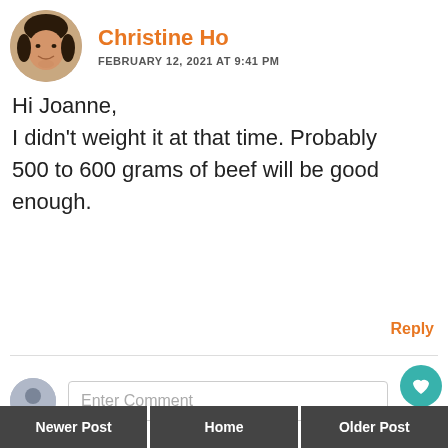Christine Ho
FEBRUARY 12, 2021 AT 9:41 PM
Hi Joanne,
I didn't weight it at that time. Probably 500 to 600 grams of beef will be good enough.
Reply
Enter Comment
9
WHAT'S NEXT → Purple Sweet Potato and...
Newer Post
Home
Older Post